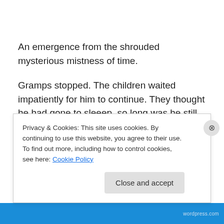An emergence from the shrouded mysterious mistness of time.
Gramps stopped. The children waited impatiently for him to continue. They thought he had gone to sleeep, so long was he still with his eyes closed.
When he finally opened them, a mischievous glint could be seen lurking in the corners as his mouth curved into a
Privacy & Cookies: This site uses cookies. By continuing to use this website, you agree to their use.
To find out more, including how to control cookies, see here: Cookie Policy
Close and accept